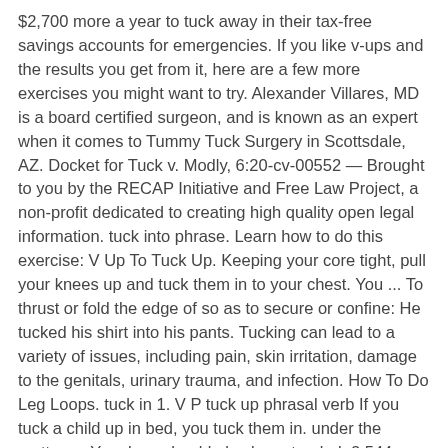$2,700 more a year to tuck away in their tax-free savings accounts for emergencies. If you like v-ups and the results you get from it, here are a few more exercises you might want to try. Alexander Villares, MD is a board certified surgeon, and is known as an expert when it comes to Tummy Tuck Surgery in Scottsdale, AZ. Docket for Tuck v. Modly, 6:20-cv-00552 — Brought to you by the RECAP Initiative and Free Law Project, a non-profit dedicated to creating high quality open legal information. tuck into phrase. Learn how to do this exercise: V Up To Tuck Up. Keeping your core tight, pull your knees up and tuck them in to your chest. You ... To thrust or fold the edge of so as to secure or confine: He tucked his shirt into his pants. Tucking can lead to a variety of issues, including pain, skin irritation, damage to the genitals, urinary trauma, and infection. How To Do Leg Loops. tuck in 1. V P tuck up phrasal verb If you tuck a child up in bed, you tuck them in. under the mattress. Your legs should also be extended. 2,544 Likes, 32 Comments - FunctionalBodybuilding (@functional.bodybuilding) on Instagram: “V-Up to Tuck-Up This is an absolute core crusher. Exercise caution and tuck carefully to avoid injury. Stability Ball